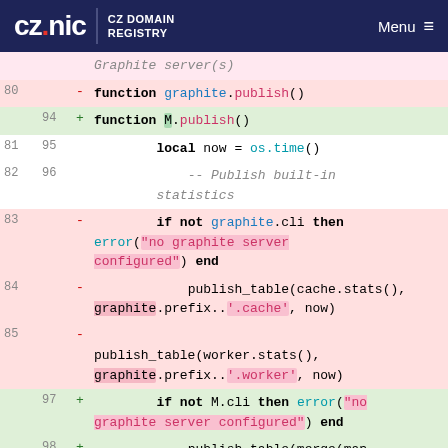[Figure (screenshot): CZ.NIC CZ Domain Registry website header with navigation menu]
Code diff showing changes to graphite.publish() and M.publish() functions in Lua, lines 80-99
CZ.NIC | CZ DOMAIN REGISTRY